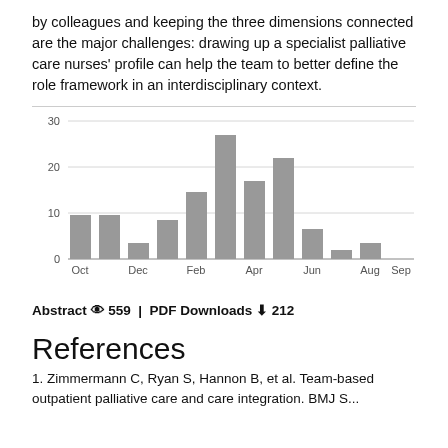by colleagues and keeping the three dimensions connected are the major challenges: drawing up a specialist palliative care nurses' profile can help the team to better define the role framework in an interdisciplinary context.
[Figure (bar-chart): ]
Abstract 559 | PDF Downloads 212
References
1. Zimmermann C, Ryan S, Hannon B, et al. Team-based outpatient palliative care and care integration. BMJ Support...